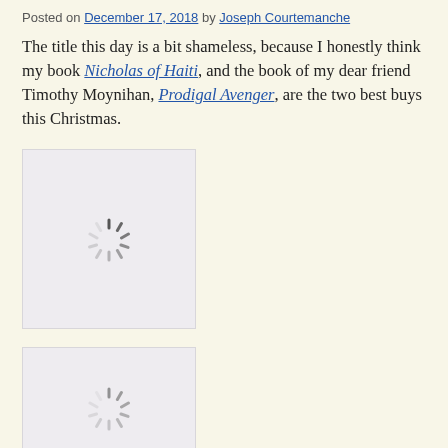Posted on December 17, 2018 by Joseph Courtemanche
The title this day is a bit shameless, because I honestly think my book Nicholas of Haiti, and the book of my dear friend Timothy Moynihan, Prodigal Avenger, are the two best buys this Christmas.
[Figure (other): Image placeholder with loading spinner (first book cover image, not loaded)]
[Figure (other): Image placeholder with loading spinner (second book cover image, not loaded)]